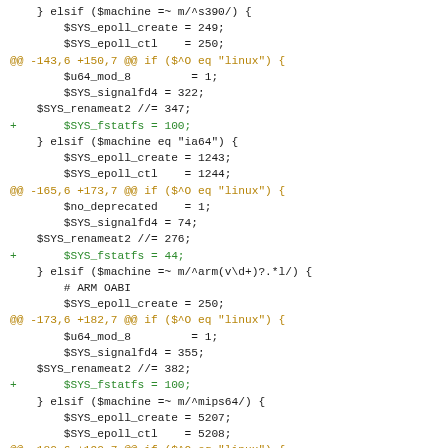} elsif ($machine =~ m/^s390/) {
    $SYS_epoll_create = 249;
    $SYS_epoll_ctl    = 250;
@@ -143,6 +150,7 @@ if ($^O eq "linux") {
        $u64_mod_8         = 1;
        $SYS_signalfd4 = 322;
    $SYS_renameat2 //= 347;
+       $SYS_fstatfs = 100;
    } elsif ($machine eq "ia64") {
        $SYS_epoll_create = 1243;
        $SYS_epoll_ctl    = 1244;
@@ -165,6 +173,7 @@ if ($^O eq "linux") {
        $no_deprecated    = 1;
        $SYS_signalfd4 = 74;
    $SYS_renameat2 //= 276;
+       $SYS_fstatfs = 44;
    } elsif ($machine =~ m/^arm(v\d+)?.*l/) {
        # ARM OABI
        $SYS_epoll_create = 250;
@@ -173,6 +182,7 @@ if ($^O eq "linux") {
        $u64_mod_8         = 1;
        $SYS_signalfd4 = 355;
    $SYS_renameat2 //= 382;
+       $SYS_fstatfs = 100;
    } elsif ($machine =~ m/^mips64/) {
        $SYS_epoll_create = 5207;
        $SYS_epoll_ctl    = 5208;
@@ -180,6 +190,7 @@ if ($^O eq "linux") {
        $u64_mod_8         = 1;
        $SYS_signalfd4 = 5283;